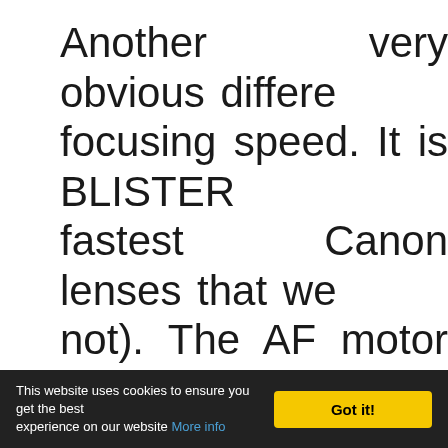Another very obvious difference focusing speed. It is BLISTERINGLY fastest Canon lenses that we not). The AF motor changed brand new Nano-USM. Nano has one side-effect though - mechanical coupling anymore when turning the focus ring. H drawback.
This website uses cookies to ensure you get the best experience on our website More info